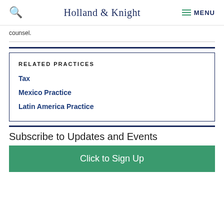Holland & Knight  MENU
counsel.
RELATED PRACTICES
Tax
Mexico Practice
Latin America Practice
Subscribe to Updates and Events
Click to Sign Up